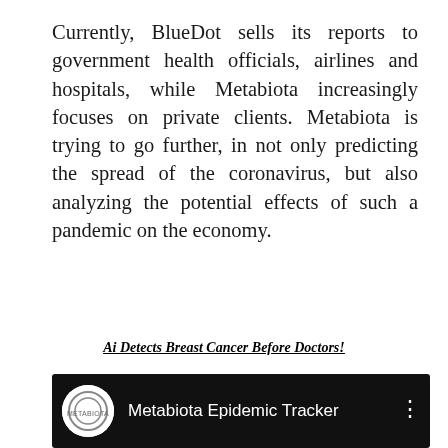Currently, BlueDot sells its reports to government health officials, airlines and hospitals, while Metabiota increasingly focuses on private clients. Metabiota is trying to go further, in not only predicting the spread of the coronavirus, but also analyzing the potential effects of such a pandemic on the economy.
Ai Detects Breast Cancer Before Doctors!
[Figure (screenshot): Screenshot of a Metabiota Epidemic Tracker video player thumbnail with dark/black background, showing the Metabiota logo on the left and the title 'Metabiota Epidemic Tracker' with a three-dot menu icon on the right.]